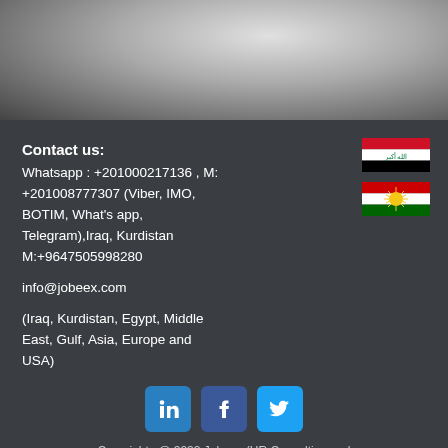[Figure (photo): Black and white photo of a person in a suit, cropped to show chest/neck area]
Contact us:
Whatsapp : +201000217136 , M: +201008777307 (Viber, IMO, BOTIM, What's app, Telegram),Iraq, Kurdistan M:+9647505998280
[Figure (illustration): Iraqi flag]
[Figure (illustration): Kurdistan flag]
info@jobeex.com
(Iraq, Kurdistan, Egypt, Middle East, Gulf, Asia, Europe and USA)
[Figure (other): Social media icons: LinkedIn, Facebook, Twitter]
Copyrights @ 2022 Jobeex (HR Consulting and Training)